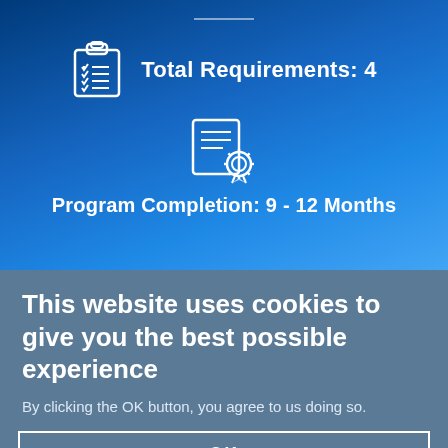[Figure (infographic): Clipboard icon with checklist lines, white outline on blue gradient background]
Total Requirements: 4
[Figure (infographic): Certificate/diploma icon with gear/badge, white outline on blue gradient background]
Program Completion: 9 - 12 Months
This website uses cookies to give you the best possible experience
By clicking the OK button, you agree to us doing so.
OK